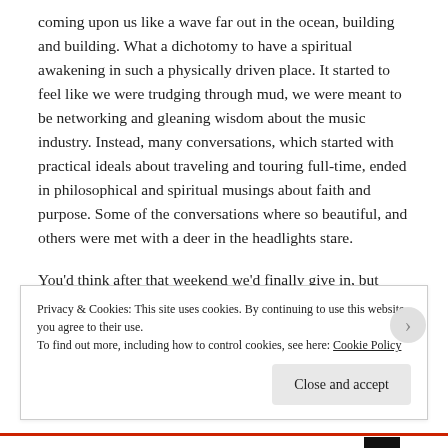coming upon us like a wave far out in the ocean, building and building. What a dichotomy to have a spiritual awakening in such a physically driven place. It started to feel like we were trudging through mud, we were meant to be networking and gleaning wisdom about the music industry. Instead, many conversations, which started with practical ideals about traveling and touring full-time, ended in philosophical and spiritual musings about faith and purpose. Some of the conversations where so beautiful, and others were met with a deer in the headlights stare.
You'd think after that weekend we'd finally give in, but instead we had another party at the lake. (And, I should
Privacy & Cookies: This site uses cookies. By continuing to use this website, you agree to their use.
To find out more, including how to control cookies, see here: Cookie Policy